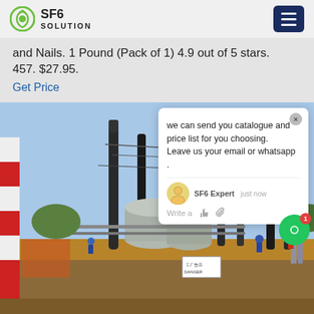SF6 SOLUTION
and Nails. 1 Pound (Pack of 1) 4.9 out of 5 stars. 457. $27.95.
Get Price
[Figure (photo): Industrial electrical substation with tall dark insulators/bushings, large grey cylindrical transformers, workers in blue and orange hard hats, construction site in foreground with soil and scaffolding, blue sky background.]
we can send you catalogue and price list for you choosing. Leave us your email or whatsapp .
SF6 Expert   just now
Write a